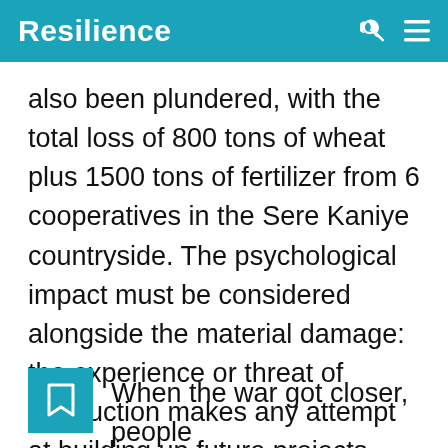Resilience
also been plundered, with the total loss of 800 tons of wheat plus 1500 tons of fertilizer from 6 cooperatives in the Sere Kaniye countryside. The psychological impact must be considered alongside the material damage: the experience or threat of destruction makes any attempt at building up future projects seem in vain.
When the war got closer, people